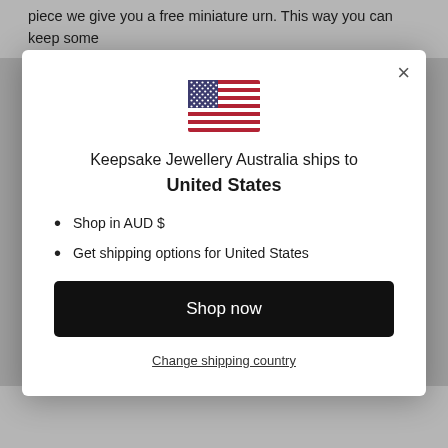piece we give you a free miniature urn. This way you can keep some ashes or hair safely aside, just in case your jewellery is ever lost. Please
[Figure (illustration): US flag icon displayed at top center of modal dialog]
Keepsake Jewellery Australia ships to United States
Shop in AUD $
Get shipping options for United States
Shop now
Change shipping country